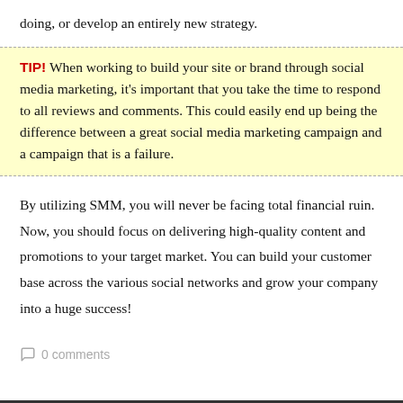doing, or develop an entirely new strategy.
TIP! When working to build your site or brand through social media marketing, it's important that you take the time to respond to all reviews and comments. This could easily end up being the difference between a great social media marketing campaign and a campaign that is a failure.
By utilizing SMM, you will never be facing total financial ruin. Now, you should focus on delivering high-quality content and promotions to your target market. You can build your customer base across the various social networks and grow your company into a huge success!
0 comments